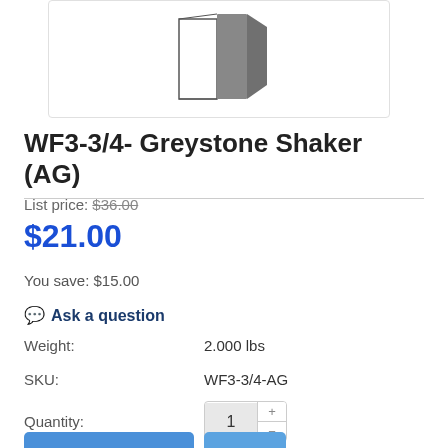[Figure (illustration): Product image of WF3-3/4 Greystone Shaker cabinet filler piece shown in grey/white color on white background with light border]
WF3-3/4- Greystone Shaker (AG)
List price: $36.00
$21.00
You save: $15.00
Ask a question
Weight: 2.000 lbs
SKU: WF3-3/4-AG
Quantity: 1